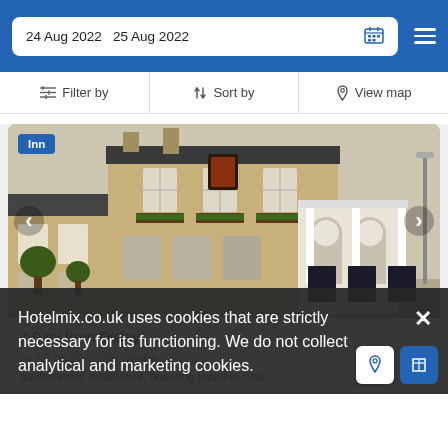24 Aug 2022  25 Aug 2022
Filter by   Sort by   View map
Inn
[Figure (photo): Exterior of a traditional English brick inn/pub with hanging plant boxes, arched doorway, pub signage and chalkboard signs on the pavement on a rainy day.]
7.0 mi from Disley
or 7.0 mi from City Centre
Hotelmix.co.uk uses cookies that are strictly necessary for its functioning. We do not collect analytical and marketing cookies.
gastronomic restaurant, boasting location near...